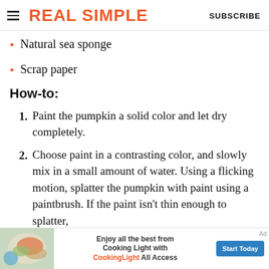REAL SIMPLE | SUBSCRIBE
Natural sea sponge
Scrap paper
How-to:
1. Paint the pumpkin a solid color and let dry completely.
2. Choose paint in a contrasting color, and slowly mix in a small amount of water. Using a flicking motion, splatter the pumpkin with paint using a paintbrush. If the paint isn't thin enough to splatter,
[Figure (infographic): Advertisement banner for Cooking Light All Access with food image on left, text 'Enjoy all the best from Cooking Light with CookingLight All Access' in center, and 'Start Today' button on right.]